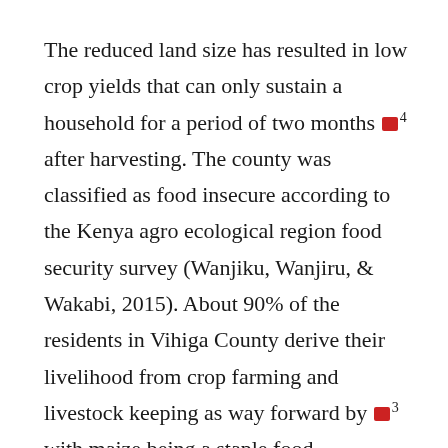The reduced land size has resulted in low crop yields that can only sustain a household for a period of two months [4] after harvesting. The county was classified as food insecure according to the Kenya agro ecological region food security survey (Wanjiku, Wanjiru, & Wakabi, 2015). About 90% of the residents in Vihiga County derive their livelihood from crop farming and livestock keeping as way forward by [3] with maize being a staple food.
Further findings by Nyangweso,et al. [5] showed that households in Vihiga face vulnerabilities of low access to adequate food due to lack of